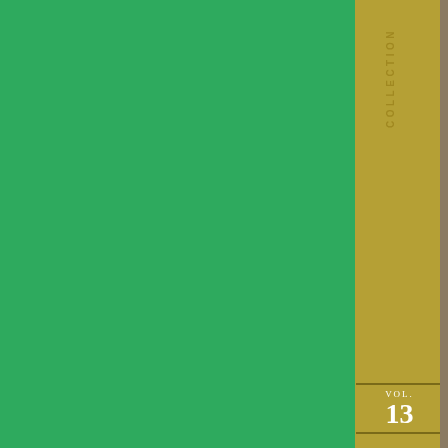[Figure (photo): Book cover/spine showing 'COLLECTION VOL. 13' with AR logo and 'EINSTEIN' text on an olive/gold spine, alongside a sepia-toned photo of an elderly man in profile (Einstein), green background panel on left, advertisement banner at bottom for jewellery & watches from labradorite-shop.com with infolinks branding]
infolinks
jewellery & watches
visit labradorite-shop.com/ to learn more
www.labradorite-shop.com